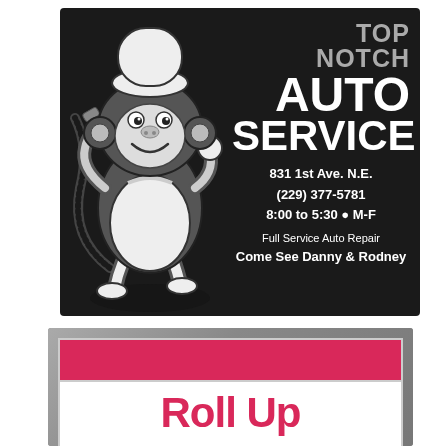[Figure (illustration): Top Notch Auto Service advertisement featuring a cartoon monkey mechanic holding a wrench on a black background, with business name, address, phone, hours, and tagline]
TOP NOTCH AUTO SERVICE
831 1st Ave. N.E.
(229) 377-5781
8:00 to 5:30 • M-F
Full Service Auto Repair
Come See Danny & Rodney
[Figure (photo): Partial view of a roll-up banner sign with red and white sections, showing the beginning of text 'Roll Up' in pink/red on white background, displayed in a gray frame/holder]